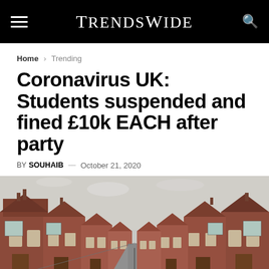TrendsWide
Home › Trending
Coronavirus UK: Students suspended and fined £10k EACH after party
BY SOUHAIB — October 21, 2020
[Figure (photo): Street view of a row of red brick terraced houses in the UK, photographed from street level looking down the road. Overcast sky visible above.]